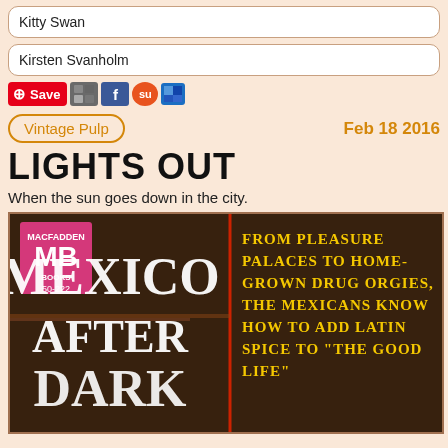Kitty Swan
Kirsten Svanholm
[Figure (screenshot): Social sharing bar with Pinterest Save button, AddThis, Facebook, StumbleUpon, and Delicious icons]
Vintage Pulp
Feb 18 2016
LIGHTS OUT
When the sun goes down in the city.
[Figure (photo): Vintage pulp paperback cover of 'Mexico After Dark' published by Macfadden MB Books (50-222). Text on cover reads: FROM PLEASURE PALACES TO HOME-GROWN DRUG ORGIES, THE MEXICANS KNOW HOW TO ADD LATIN SPICE TO 'THE GOOD LIFE']